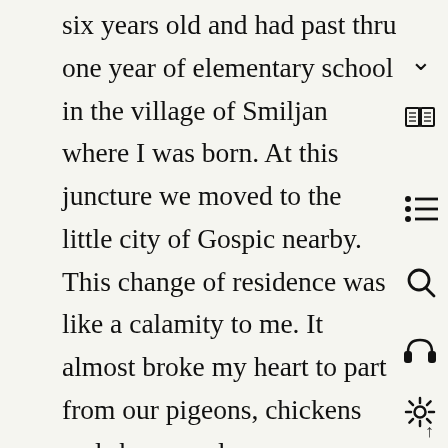six years old and had past thru one year of elementary school in the village of Smiljan where I was born. At this juncture we moved to the little city of Gospic nearby. This change of residence was like a calamity to me. It almost broke my heart to part from our pigeons, chickens and sheep, and our magnificent flock of geese which used to rise to the clouds in the morning and return from the feeding grounds at sundown in battle formation, so perfect that it would have put a squadron of the best aviators of the present day to shame. In our new house I was but a prisoner, watching the strange people I saw thru the window blinds. My bashfulness was such that I would rather have faced a roaring lion than one of the city
[Figure (other): Right sidebar with navigation icons: chevron down, book/map, list, search, headphones, settings gear]
↑